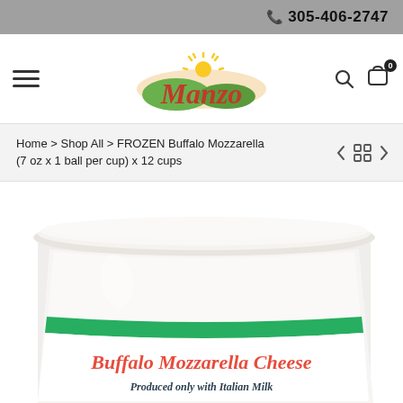305-406-2747
[Figure (logo): Manzo brand logo with red script text, green hills, and yellow sun]
Home > Shop All > FROZEN Buffalo Mozzarella (7 oz x 1 ball per cup) x 12 cups
[Figure (photo): Buffalo Mozzarella Cheese product in a white plastic cup with green stripe and red script label reading 'Buffalo Mozzarella Cheese - Produced only with Italian Milk']